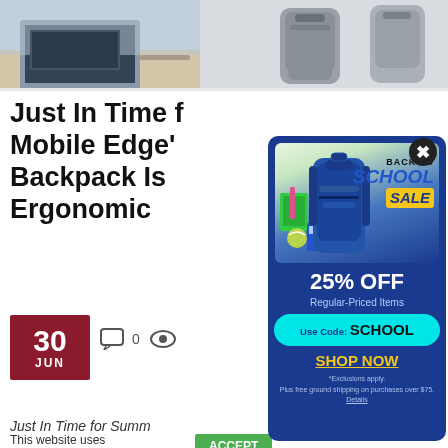[Figure (photo): Top banner with two photos: a laptop/desk scene on the left and a grey backpack on the right]
Just In Time for Mobile Edge's Backpack Is D Ergonomic
30 JUN
0
Just In Time for Summ
This website uses cookies. Read about how we
more.
ACCEPT
[Figure (infographic): Back to School Sale popup ad with a blue backpack, school supplies, BACK TO SCHOOL SALE banner, 25% OFF Regular-Priced Items, Use Code: SCHOOL, SHOP NOW link, and exclusions text]
BACK TO SCHOOL SALE
25% OFF
Regular-Priced Items
Use Code: SCHOOL
SHOP NOW
*Exclusions apply. Plus free ground shipping on purchases over $75. Details